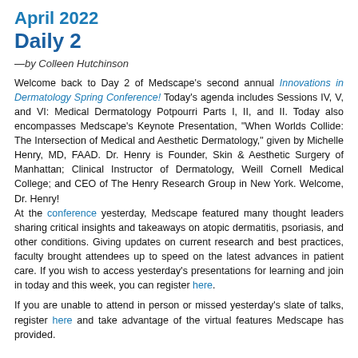April 2022
Daily 2
—by Colleen Hutchinson
Welcome back to Day 2 of Medscape's second annual Innovations in Dermatology Spring Conference! Today's agenda includes Sessions IV, V, and VI: Medical Dermatology Potpourri Parts I, II, and II. Today also encompasses Medscape's Keynote Presentation, "When Worlds Collide: The Intersection of Medical and Aesthetic Dermatology," given by Michelle Henry, MD, FAAD. Dr. Henry is Founder, Skin & Aesthetic Surgery of Manhattan; Clinical Instructor of Dermatology, Weill Cornell Medical College; and CEO of The Henry Research Group in New York. Welcome, Dr. Henry! At the conference yesterday, Medscape featured many thought leaders sharing critical insights and takeaways on atopic dermatitis, psoriasis, and other conditions. Giving updates on current research and best practices, faculty brought attendees up to speed on the latest advances in patient care. If you wish to access yesterday's presentations for learning and join in today and this week, you can register here.
If you are unable to attend in person or missed yesterday's slate of talks, register here and take advantage of the virtual features Medscape has provided.